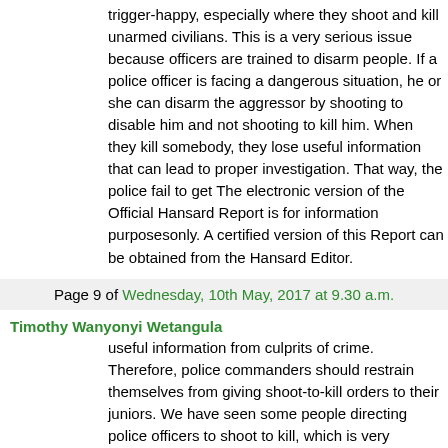trigger-happy, especially where they shoot and kill unarmed civilians. This is a very serious issue because officers are trained to disarm people. If a police officer is facing a dangerous situation, he or she can disarm the aggressor by shooting to disable him and not shooting to kill him. When they kill somebody, they lose useful information that can lead to proper investigation. That way, the police fail to get The electronic version of the Official Hansard Report is for information purposesonly. A certified version of this Report can be obtained from the Hansard Editor.
Page 9 of Wednesday, 10th May, 2017 at 9.30 a.m.
Timothy Wanyonyi Wetangula
useful information from culprits of crime. Therefore, police commanders should restrain themselves from giving shoot-to-kill orders to their juniors. We have seen some people directing police officers to shoot to kill, which is very dangerous. Instructing an armed police officer to shoot a civilian because he was involved in something is dangerous. Most of the time, these are people who are involved in political activities, and the shoot-to-kill order is very dangerous. We should encourage people to follow the due process of the law. If people are arrested, they